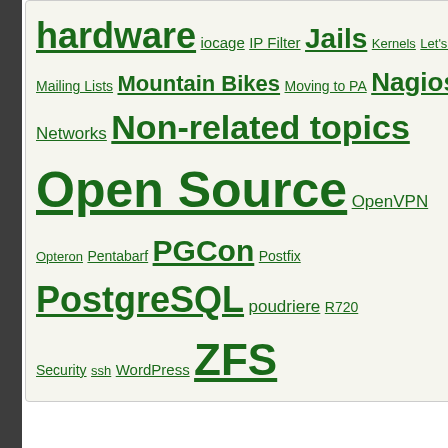[Figure (other): Dark sidebar on left edge]
hardware iocage IP Filter Jails Kernels Let's Encrypt Mail Mailing Lists Mountain Bikes Moving to PA Nagios named Network monitoring Networks Non-related topics Open Source OpenVPN Opteron Pentabarf PGCon Postfix PostgreSQL poudriere R720 Security ssh WordPress ZFS
Recent Comments
Race Boyer on Converting an iocage jail to a vanilla jail
Dan Langille on Converting an iocage jail to a vanilla jail
Race Boyer on Converting an iocage jail to a vanilla jail
Michael Hurley on Eaton ePDU Auth Algorithm & Crypto Algorithm for SNMPv3 Configuration
So far, I have the f
The main p... commit
The commi... commit
New ports -
List of Cate... port
Unrefreshe...
Security No... that we hav...
The securit...
The news f... commit
VuXML pag... VuXML con...
The side ba... commit
The graphss...